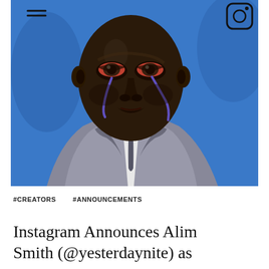[Figure (illustration): A painting of a man in a grey suit and dark tie with a white dress shirt, crying purple/blue tears against a vivid blue background. The figure has exaggerated, stylized facial features with red-tinged eyes.]
#CREATORS    #ANNOUNCEMENTS
Instagram Announces Alim Smith (@yesterdaynite) as